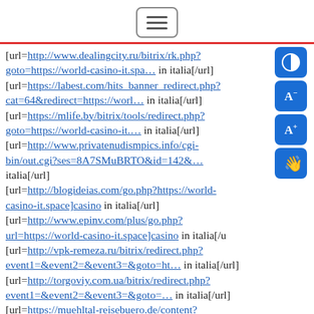[menu icon]
[url=http://www.dealingcity.ru/bitrix/rk.php?goto=https://world-casino-it.spa… in italia[/url] [url=https://labest.com/hits_banner_redirect.php?cat=64&redirect=https://worl… in italia[/url] [url=https://mlife.by/bitrix/tools/redirect.php?goto=https://world-casino-it.… in italia[/url] [url=http://www.privatenudismpics.info/cgi-bin/out.cgi?ses=8A7SMuBRTO&id=142&… italia[/url] [url=http://blogideias.com/go.php?https://world-casino-it.space]casino in italia[/url] [url=http://www.epinv.com/plus/go.php?url=https://world-casino-it.space]casino in italia[/url] [url=http://vpk-remeza.ru/bitrix/redirect.php?event1=&event2=&event3=&goto=ht… in italia[/url] [url=http://torgoviy.com.ua/bitrix/redirect.php?event1=&event2=&event3=&goto=… in italia[/url] [url=https://muehltal-reisebuero.de/content?url=https://world-casino-it.space… in italia[/url]
Online gambling is stock all over the terra, but in diverse countries the laws can be thorough, making